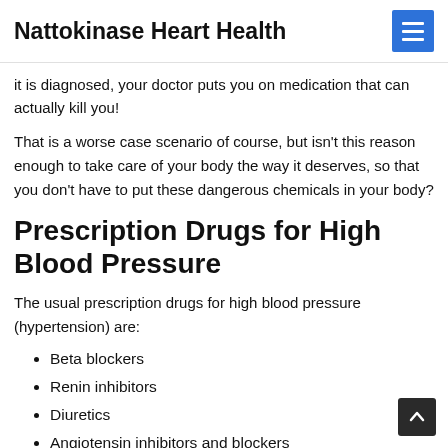Nattokinase Heart Health
it is diagnosed, your doctor puts you on medication that can actually kill you!
That is a worse case scenario of course, but isn't this reason enough to take care of your body the way it deserves, so that you don't have to put these dangerous chemicals in your body?
Prescription Drugs for High Blood Pressure
The usual prescription drugs for high blood pressure (hypertension) are:
Beta blockers
Renin inhibitors
Diuretics
Angiotensin inhibitors and blockers
Calcium channel blockers